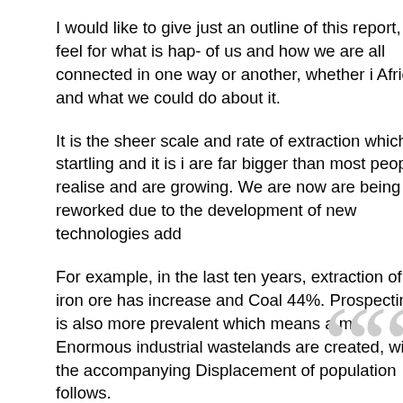I would like to give just an outline of this report, a feel for what is hap- pening to all of us and how we are all connected in one way or another, whether it... Africa and what we could do about it.
It is the sheer scale and rate of extraction which is startling and it is in... are far bigger than most people realise and are growing. We are now... are being reworked due to the development of new technologies add...
For example, in the last ten years, extraction of iron ore has increase... and Coal 44%. Prospecting is also more prevalent which means a m... Enormous industrial wastelands are created, with the accompanying... Displacement of population follows.
Human rights, mainly but not exclusively those of indigenous peoples... are broken or circumvented.
Along with this insatiable hunger for the Earth's resources comes a great need for water, a resource that in some countries is not plentiful. Even now, SE England is suffering drought.